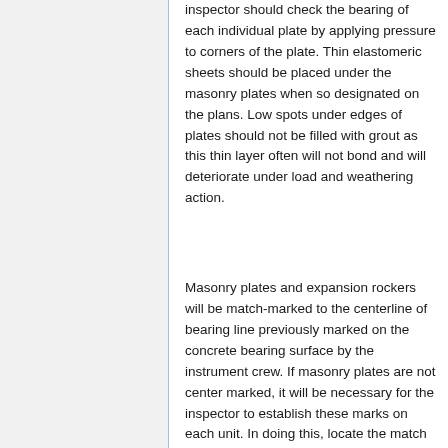inspector should check the bearing of each individual plate by applying pressure to corners of the plate. Thin elastomeric sheets should be placed under the masonry plates when so designated on the plans. Low spots under edges of plates should not be filled with grout as this thin layer often will not bond and will deteriorate under load and weathering action.
Masonry plates and expansion rockers will be match-marked to the centerline of bearing line previously marked on the concrete bearing surface by the instrument crew. If masonry plates are not center marked, it will be necessary for the inspector to establish these marks on each unit. In doing this, locate the match line by using anchor bolt holes as the center. When erecting each unit, the crew will match the center line of